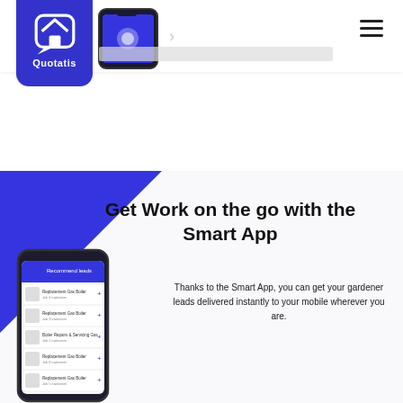[Figure (logo): Quotatis logo — blue shield/house icon with 'Quotatis' text on a blue rounded rectangle badge]
[Figure (screenshot): Partial smartphone mockup showing a blue app screen, visible in the header area]
[Figure (screenshot): Smartphone mockup showing the Quotatis Smart App with a list of boiler replacement leads; shown in lower-left section]
Get Work on the go with the Smart App
Thanks to the Smart App, you can get your gardener leads delivered instantly to your mobile wherever you are.